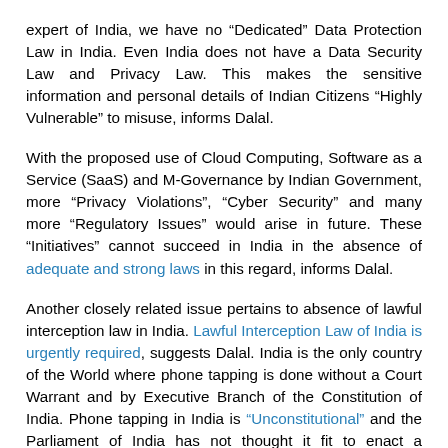expert of India, we have no "Dedicated" Data Protection Law in India. Even India does not have a Data Security Law and Privacy Law. This makes the sensitive information and personal details of Indian Citizens "Highly Vulnerable" to misuse, informs Dalal.
With the proposed use of Cloud Computing, Software as a Service (SaaS) and M-Governance by Indian Government, more "Privacy Violations", "Cyber Security" and many more "Regulatory Issues" would arise in future. These "Initiatives" cannot succeed in India in the absence of adequate and strong laws in this regard, informs Dalal.
Another closely related issue pertains to absence of lawful interception law in India. Lawful Interception Law of India is urgently required, suggests Dalal. India is the only country of the World where phone tapping is done without a Court Warrant and by Executive Branch of the Constitution of India. Phone tapping in India is "Unconstitutional" and the Parliament of India has not thought it fit to enact a "Constitutionally Sound Law" in this regard. Even the Supreme Court's directions in PUCL case have proved futile